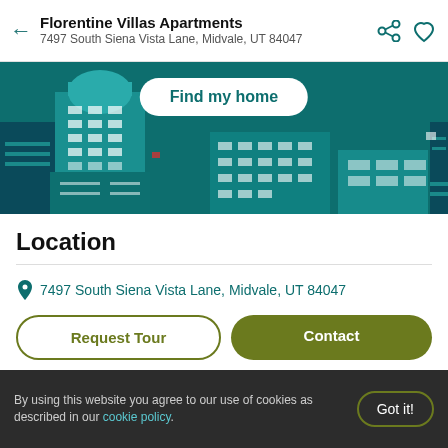Florentine Villas Apartments
7497 South Siena Vista Lane, Midvale, UT 84047
[Figure (illustration): Teal-colored cityscape illustration with buildings against a dark teal background, with a 'Find my home' white pill button in the center.]
Location
7497 South Siena Vista Lane, Midvale, UT 84047
Request Tour | Contact
[Figure (map): Partial map showing Salt Lake City area]
By using this website you agree to our use of cookies as described in our cookie policy.